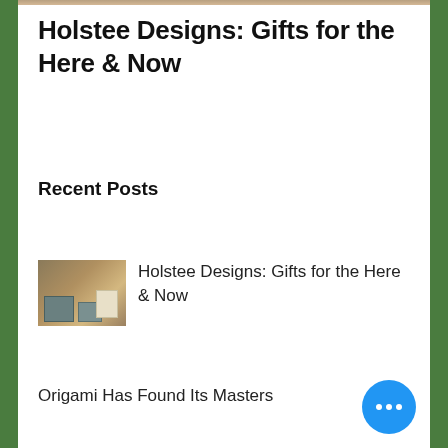[Figure (photo): Thin decorative image strip at the top of the page]
Holstee Designs: Gifts for the Here & Now
Recent Posts
[Figure (photo): Thumbnail image of a building storefront for the Holstee Designs post]
Holstee Designs: Gifts for the Here & Now
Origami Has Found Its Masters